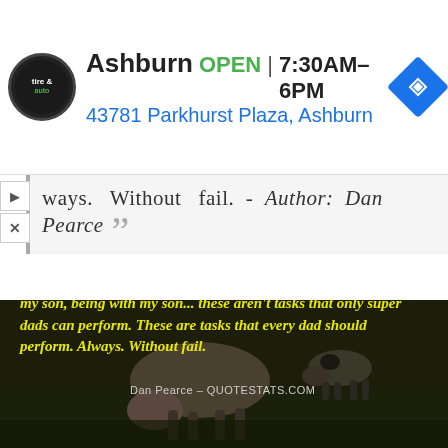[Figure (screenshot): Ad banner for Ashburn tire & auto shop showing logo, OPEN status, hours 7:30AM-6PM, address 43781 Parkhurst Plaza Ashburn, and navigation icon]
ways. Without fail. - Author: Dan Pearce
[Figure (photo): Dark background photo of goats/animals grazing in a field with a yellow italic quote overlaid: 'Loving my son, building my son, touching my son, playing with my son, being with my son... these aren't tasks that only super dads can perform. These are tasks that every dad should perform. Always. Without fail.' Attribution: Dan Pearce - QUOTESTATS.COM]